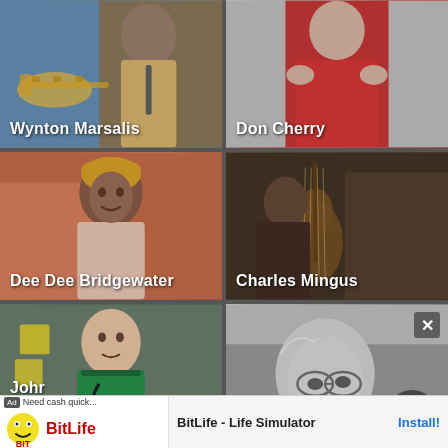[Figure (photo): Wynton Marsalis holding a trumpet, blue background]
[Figure (photo): Don Cherry in red outfit]
[Figure (photo): Dee Dee Bridgewater smiling, wearing headwrap]
[Figure (photo): Charles Mingus playing double bass on stage]
[Figure (photo): John - young man in hospital green scrubs]
[Figure (photo): Elderly man with glasses in black and white photo, scroll-up button overlay]
[Figure (photo): BitLife ad banner at bottom with install button]